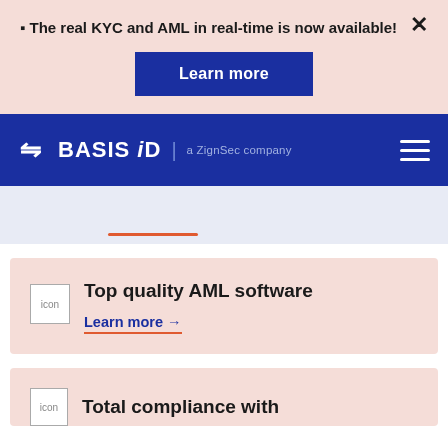🔔 The real KYC and AML in real-time is now available!
Learn more
[Figure (logo): BASIS iD logo — a ZignSec company, white text on dark blue navigation bar]
[Figure (other): Orange/red horizontal underline on light blue-grey background]
Top quality AML software
Learn more →
Total compliance with